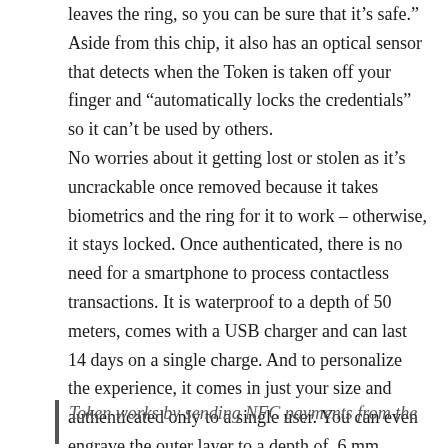leaves the ring, so you can be sure that it’s safe.” Aside from this chip, it also has an optical sensor that detects when the Token is taken off your finger and “automatically locks the credentials” so it can’t be used by others.
No worries about it getting lost or stolen as it’s uncrackable once removed because it takes biometrics and the ring for it to work – otherwise, it stays locked. Once authenticated, there is no need for a smartphone to process contactless transactions. It is waterproof to a depth of 50 meters, comes with a USB charger and can last 14 days on a single charge. And to personalize the experience, it comes in just your size and authenticated only to a single user. You can even engrave the outer layer to a depth of .6 mm without damaging the core. For now, it only ships in the U.S. but can be used internationally and can load multiple credit cards.
Token works by sending NFC payments from the